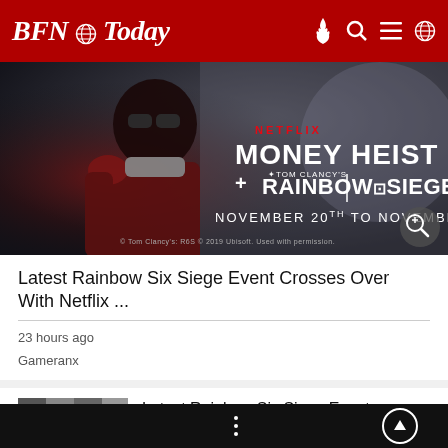BFN Today
[Figure (screenshot): Promotional image for Netflix Money Heist + Tom Clancy's Rainbow Six Siege crossover event, November 20th to November 25th. Shows armored character in red suit with game logos overlaid.]
Latest Rainbow Six Siege Event Crosses Over With Netflix ...
23 hours ago
Gameranx
[Figure (photo): Small blurred thumbnail image showing pixelated gray blocks, presumably related to the Rainbow Six Siege / Money Heist article.]
Latest Rainbow Six Siege Event Crosses Over With Netflix Series Money Heist
7 days ago